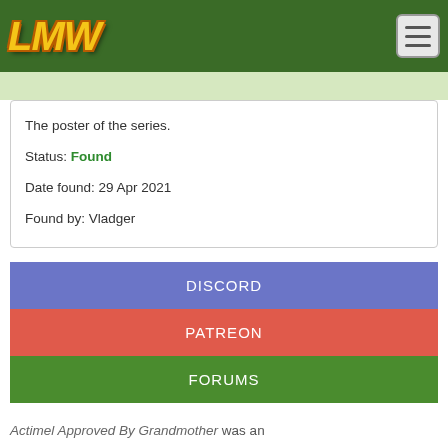LMW
The poster of the series.
Status: Found
Date found: 29 Apr 2021
Found by: Vladger
DISCORD
PATREON
FORUMS
Actimel Approved By Grandmother was an